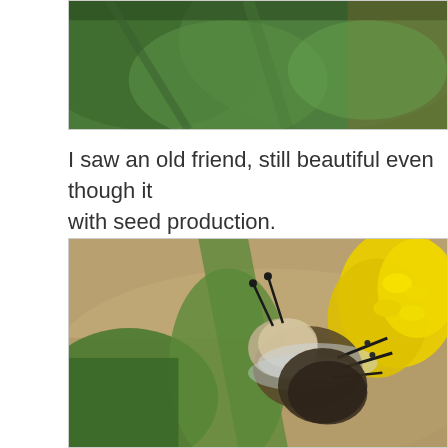[Figure (photo): Close-up photo of green leaves and plant foliage, partially cropped at top of page]
I saw an old friend, still beautiful even though it with seed production.
[Figure (photo): Close-up macro photograph of a bumblebee on bright yellow goldenrod flowers, with green leaves and blurred brown background]